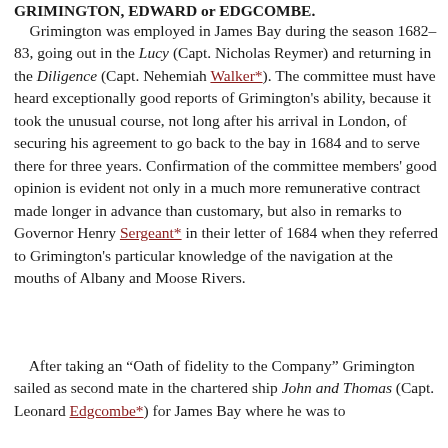GRIMINGTON, EDWARD or EDGCOMBE.
Grimington was employed in James Bay during the season 1682–83, going out in the Lucy (Capt. Nicholas Reymer) and returning in the Diligence (Capt. Nehemiah Walker*). The committee must have heard exceptionally good reports of Grimington's ability, because it took the unusual course, not long after his arrival in London, of securing his agreement to go back to the bay in 1684 and to serve there for three years. Confirmation of the committee members' good opinion is evident not only in a much more remunerative contract made longer in advance than customary, but also in remarks to Governor Henry Sergeant* in their letter of 1684 when they referred to Grimington's particular knowledge of the navigation at the mouths of Albany and Moose Rivers.
After taking an “Oath of fidelity to the Company” Grimington sailed as second mate in the chartered ship John and Thomas (Capt. Leonard Edgcombe*) for James Bay where he was to